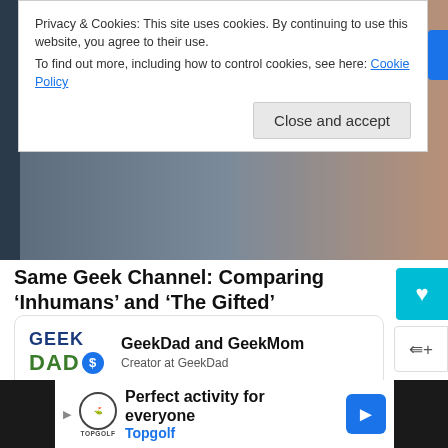Privacy & Cookies: This site uses cookies. By continuing to use this website, you agree to their use.
To find out more, including how to control cookies, see here: Cookie Policy
Close and accept
Same Geek Channel: Comparing ‘Inhumans’ and ‘The Gifted’
October 4, 2017   Joey L. Mills –
AFFILIATE LINKS
[Figure (other): Broken image icon followed by link text: BF/CM Deals Now Live]
[Figure (logo): GeekDad logo with GEEK text in blue and DAD text in green with a blue dollar badge, alongside text: GeekDad and GeekMom, Creator at GeekDad]
Perfect activity for everyone  Topgolf